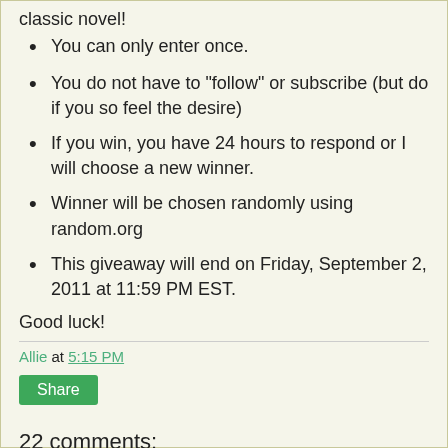classic novel!
You can only enter once.
You do not have to "follow" or subscribe (but do if you so feel the desire)
If you win, you have 24 hours to respond or I will choose a new winner.
Winner will be chosen randomly using random.org
This giveaway will end on Friday, September 2, 2011 at 11:59 PM EST.
Good luck!
Allie at 5:15 PM
Share
22 comments: